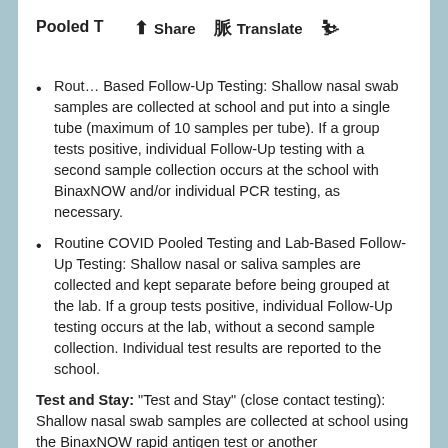Pooled T[esting]
Routine COVID Pooled Testing and School-Based Follow-Up Testing: Shallow nasal swab samples are collected at school and put into a single tube (maximum of 10 samples per tube). If a group tests positive, individual Follow-Up testing with a second sample collection occurs at the school with BinaxNOW and/or individual PCR testing, as necessary.
Routine COVID Pooled Testing and Lab-Based Follow-Up Testing: Shallow nasal or saliva samples are collected and kept separate before being grouped at the lab. If a group tests positive, individual Follow-Up testing occurs at the lab, without a second sample collection. Individual test results are reported to the school.
Test and Stay: "Test and Stay" (close contact testing): Shallow nasal swab samples are collected at school using the BinaxNOW rapid antigen test or another